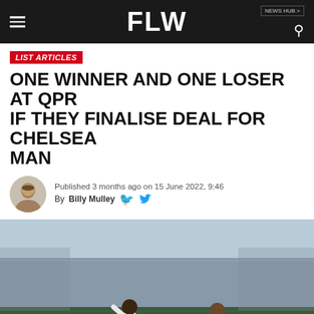FLW
LIST ARTICLES
ONE WINNER AND ONE LOSER AT QPR IF THEY FINALISE DEAL FOR CHELSEA MAN
Published 3 months ago on 15 June 2022, 9:46
By Billy Mulley
[Figure (photo): Two football players competing for the ball on a pitch with a crowd in the background. One player in white kit (32Red sponsor) and another in light blue/grey kit.]